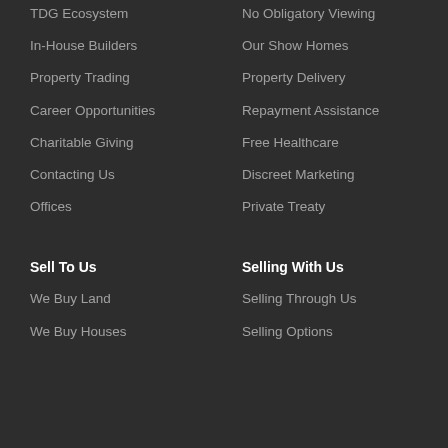TDG Ecosystem
In-House Builders
Property Trading
Career Opportunities
Charitable Giving
Contacting Us
Offices
No Obligatory Viewing
Our Show Homes
Property Delivery
Repayment Assistance
Free Healthcare
Discreet Marketing
Private Treaty
Sell To Us
Selling With Us
We Buy Land
We Buy Houses
Selling Through Us
Selling Options